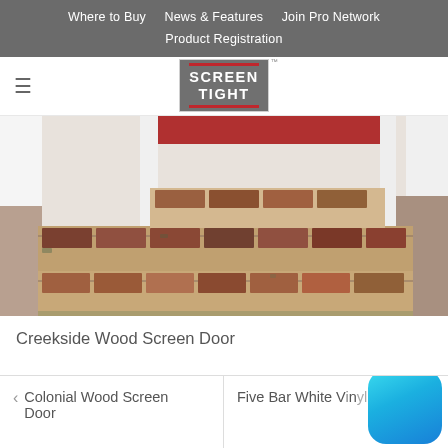Where to Buy   News & Features   Join Pro Network   Product Registration
[Figure (logo): Screen Tight logo — white text on grey background with red bars top and bottom]
[Figure (photo): Brick front steps of a house with white columns and a red door, viewed from a low angle]
Creekside Wood Screen Door
< Colonial Wood Screen Door
Five Bar White V...